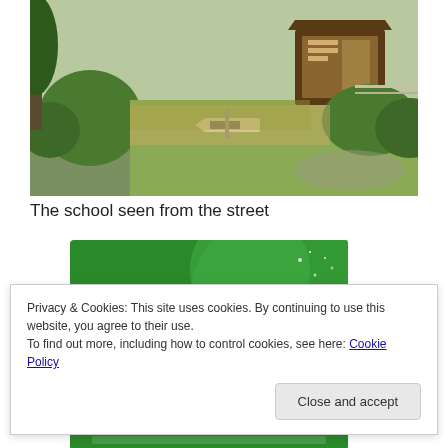[Figure (photo): Outdoor photo of a school or park entrance seen from the street, with trimmed hedges, trees, and a wooden information board with Japanese text and a directional sign.]
The school seen from the street
[Figure (other): Green advertisement banner with the text 'The best real-time WordPress backup plugin' in white bold text on a dark green background with circular graphic elements.]
Privacy & Cookies: This site uses cookies. By continuing to use this website, you agree to their use.
To find out more, including how to control cookies, see here: Cookie Policy
Close and accept